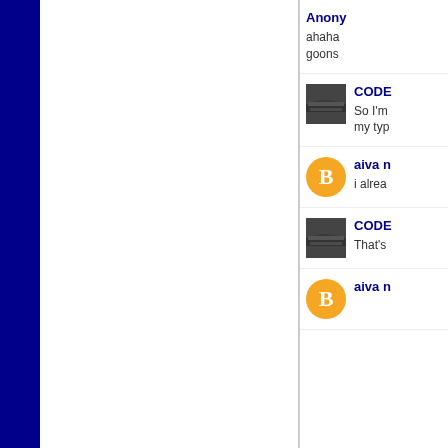Anonymous
ahaha goons
CODENAME
So I'm my typ
aiva n
i alrea
CODENAME
That's
aiva n